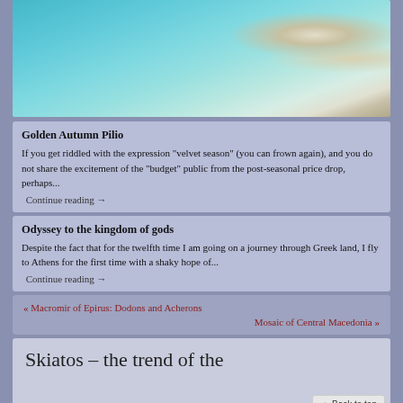[Figure (photo): Aerial view of turquoise sea water with sandy beach and white waves]
Golden Autumn Pilio
If you get riddled with the expression "velvet season" (you can frown again), and you do not share the excitement of the "budget" public from the post-seasonal price drop, perhaps...
Continue reading →
Odyssey to the kingdom of gods
Despite the fact that for the twelfth time I am going on a journey through Greek land, I fly to Athens for the first time with a shaky hope of...
Continue reading →
« Macromir of Epirus: Dodons andAcherons
Mosaic of Central Macedonia »
Skiatos – the trend of the
▲ Back to top